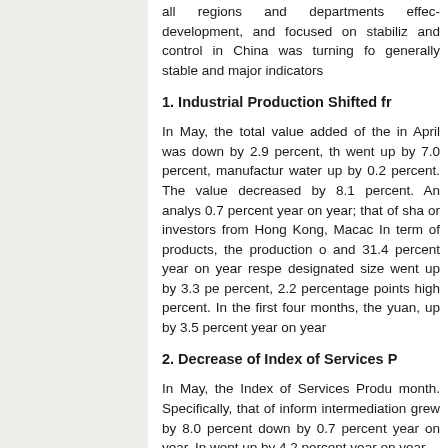all regions and departments effec development, and focused on stabiliz and control in China was turning fo generally stable and major indicators
1. Industrial Production Shifted fr
In May, the total value added of the in April was down by 2.9 percent, th went up by 7.0 percent, manufactur water up by 0.2 percent. The value decreased by 8.1 percent. An analys 0.7 percent year on year; that of sha or investors from Hong Kong, Macac In term of products, the production o and 31.4 percent year on year respe designated size went up by 3.3 pe percent, 2.2 percentage points high percent. In the first four months, the yuan, up by 3.5 percent year on year
2. Decrease of Index of Services P
In May, the Index of Services Produ month. Specifically, that of inform intermediation grew by 8.0 percent down by 0.7 percent year on year. In went up by 4.2 percent year on year